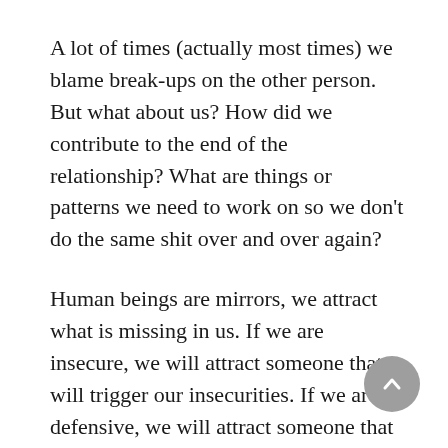A lot of times (actually most times) we blame break-ups on the other person. But what about us? How did we contribute to the end of the relationship? What are things or patterns we need to work on so we don't do the same shit over and over again?
Human beings are mirrors, we attract what is missing in us. If we are insecure, we will attract someone that will trigger our insecurities. If we are defensive, we will attract someone that will push our buttons. We all have traumas and baggage that make us who we are and there's nothing wrong with looking into the why or the how. Trying to put the pieces together,